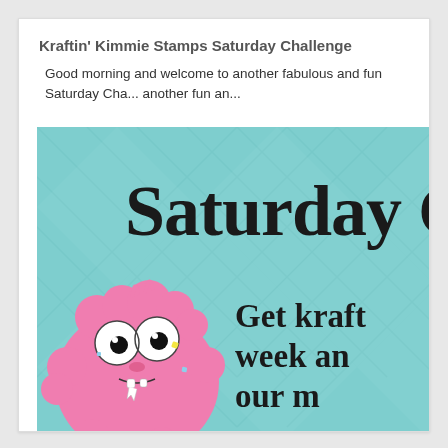Kraftin' Kimmie Stamps Saturday Challenge
Good morning and welcome to another fabulous and fun Saturday Cha... another fun an...
[Figure (illustration): Promotional banner image for Kraftin' Kimmie Stamps Saturday Challenge. Teal/mint argyle diamond background pattern. Large bold serif text reads 'Saturday C' (cropped). A cute pink furry monster cartoon character on the left side with big eyes and small teeth. Text on the right reads 'Get kraft... week an... our m...' (cropped).]